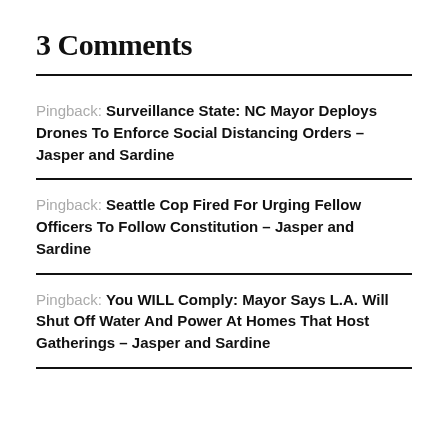3 Comments
Pingback: Surveillance State: NC Mayor Deploys Drones To Enforce Social Distancing Orders – Jasper and Sardine
Pingback: Seattle Cop Fired For Urging Fellow Officers To Follow Constitution – Jasper and Sardine
Pingback: You WILL Comply: Mayor Says L.A. Will Shut Off Water And Power At Homes That Host Gatherings – Jasper and Sardine